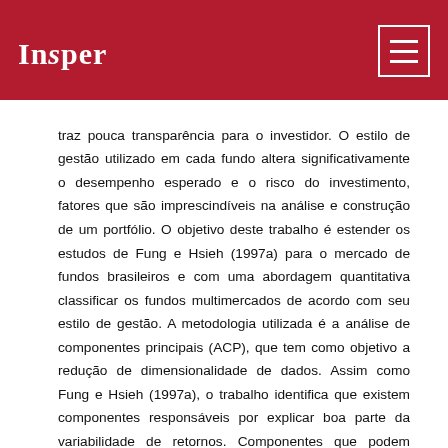Insper
traz pouca transparência para o investidor. O estilo de gestão utilizado em cada fundo altera significativamente o desempenho esperado e o risco do investimento, fatores que são imprescindíveis na análise e construção de um portfólio. O objetivo deste trabalho é estender os estudos de Fung e Hsieh (1997a) para o mercado de fundos brasileiros e com uma abordagem quantitativa classificar os fundos multimercados de acordo com seu estilo de gestão. A metodologia utilizada é a análise de componentes principais (ACP), que tem como objetivo a redução de dimensionalidade de dados. Assim como Fung e Hsieh (1997a), o trabalho identifica que existem componentes responsáveis por explicar boa parte da variabilidade de retornos. Componentes que podem então ser utilizados para classificar os fundos de acordo com seu estilo de gestão e posteriormente utilizados na construção de um